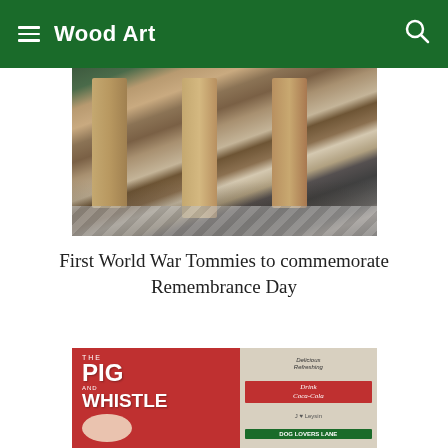Wood Art
[Figure (photo): Close-up of wooden sculpted figures resembling WWI soldiers (Tommies), showing legs and bases on a stone/tarmac surface outdoors]
First World War Tommies to commemorate Remembrance Day
[Figure (photo): Photo showing retro pub and shop signs including 'The Pig and Whistle', 'Drink Coca-Cola', 'Delicious Refreshing', 'Dog Lovers Lane', 'J loves Leysin' signs]